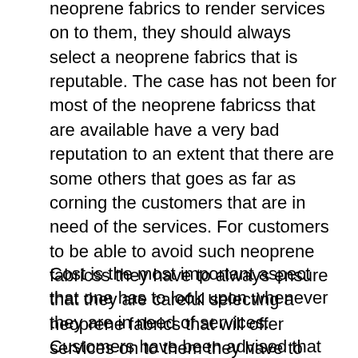neoprene fabrics to render services on to them, they should always select a neoprene fabrics that is reputable. The case has not been for most of the neoprene fabricss that are available have a very bad reputation to an extent that there are some others that goes as far as corning the customers that are in need of the services. For customers to be able to avoid such neoprene fabricss they have to always ensure that they are careful selecting a neoprene fabrics that will offer services on to them they have to ensure that they should take advice from the past served customers so that they can tell them on how particular neoprene fabricss offers out there services.
Cost is the most important aspect that one has to look upon whenever they are in need of services. Customers have been advised that they have to always be aware of the cost that fits the services they are demanding out so that they can be able to plan for the services that will be offered on to them. It